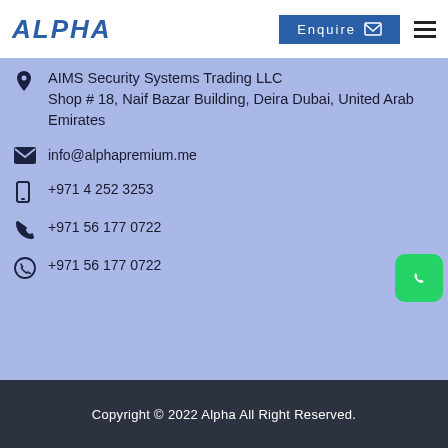ALPHA | Enquire
AIMS Security Systems Trading LLC
Shop # 18, Naif Bazar Building, Deira Dubai, United Arab Emirates
info@alphapremium.me
+971 4 252 3253
+971 56 177 0722
+971 56 177 0722
Copyright © 2022 Alpha All Right Reserved.